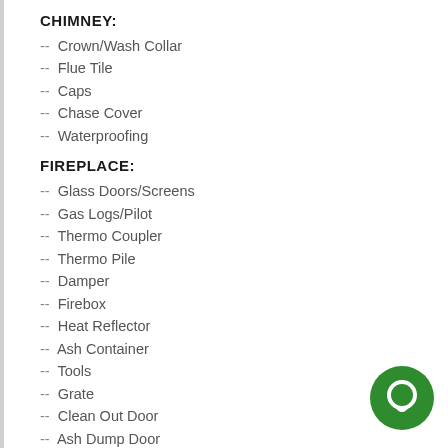CHIMNEY:
-- Crown/Wash Collar
-- Flue Tile
-- Caps
-- Chase Cover
-- Waterproofing
FIREPLACE:
-- Glass Doors/Screens
-- Gas Logs/Pilot
-- Thermo Coupler
-- Thermo Pile
-- Damper
-- Firebox
-- Heat Reflector
-- Ash Container
-- Tools
-- Grate
-- Clean Out Door
-- Ash Dump Door
-- Smoke Chamber